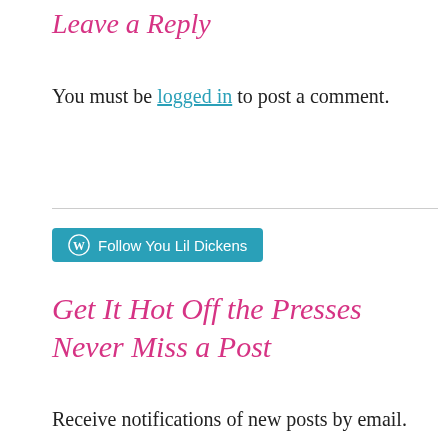Leave a Reply
You must be logged in to post a comment.
[Figure (other): WordPress Follow button widget: blue rounded button with WordPress logo icon and text 'Follow You Lil Dickens']
Get It Hot Off the Presses Never Miss a Post
Receive notifications of new posts by email.